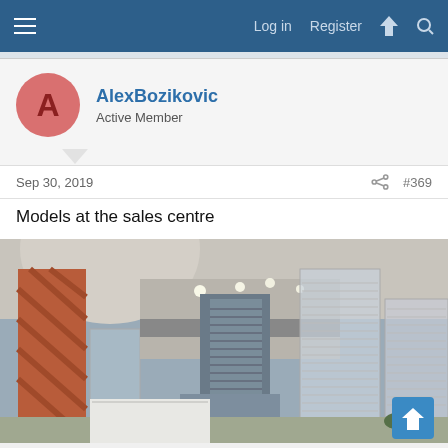Log in   Register
[Figure (photo): User avatar circle with letter A on pink/salmon background]
AlexBozikovic
Active Member
Sep 30, 2019   #369
Models at the sales centre
[Figure (photo): Architectural scale model at a sales centre showing high-rise condo towers, including a stepped modern building in the centre and glass tower models, inside a grand interior space with arched columns]